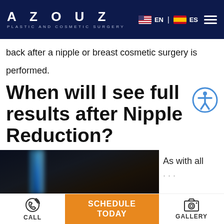AZOUZ PLASTIC AND COSMETIC SURGERY | EN | ES
back after a nipple or breast cosmetic surgery is performed.
When will I see full results after Nipple Reduction?
[Figure (photo): Dark close-up photo with blue light streak, related to nipple reduction surgery content]
As with all
CALL
SCHEDULE TODAY
GALLERY